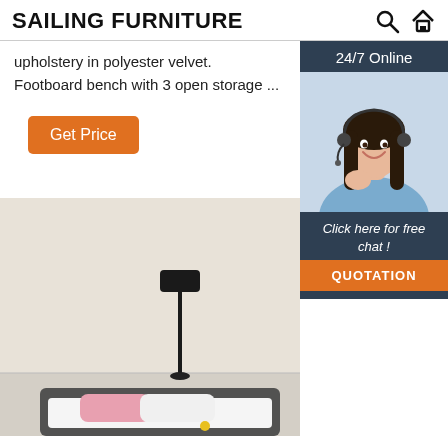SAILING FURNITURE
upholstery in polyester velvet. Footboard bench with 3 open storage ...
Get Price
[Figure (photo): Customer service agent woman with headset smiling, with 24/7 Online label, Click here for free chat text, and QUOTATION button on dark navy background sidebar widget]
[Figure (photo): Bedroom interior with a bed with pink pillows, a black floor lamp, and white walls]